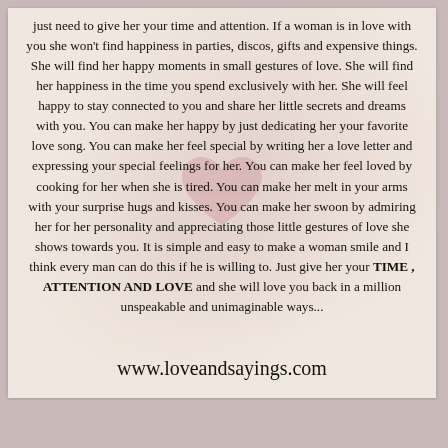just need to give her your time and attention. If a woman is in love with you she won't find happiness in parties, discos, gifts and expensive things. She will find her happy moments in small gestures of love. She will find her happiness in the time you spend exclusively with her. She will feel happy to stay connected to you and share her little secrets and dreams with you. You can make her happy by just dedicating her your favorite love song. You can make her feel special by writing her a love letter and expressing your special feelings for her. You can make her feel loved by cooking for her when she is tired. You can make her melt in your arms with your surprise hugs and kisses. You can make her swoon by admiring her for her personality and appreciating those little gestures of love she shows towards you. It is simple and easy to make a woman smile and I think every man can do this if he is willing to. Just give her your TIME , ATTENTION AND LOVE and she will love you back in a million unspeakable and unimaginable ways...
www.loveandsayings.com